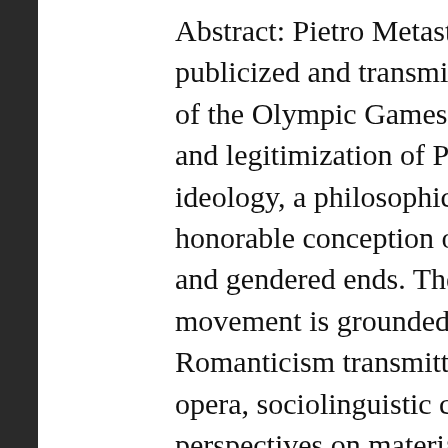Abstract: Pietro Metastasio's popular 18th-century libretto publicized and transmitted a particular ideological and historical view of the Olympic Games that would ultimately contribute to and legitimization of Pierre de Coubertin's own idiosyncratic ideology, a philosophical religious doctrine that embraced an honorable conception of sport at the same time as it served nationalist and gendered ends. The hegemony of the contemporary Olympic movement is grounded in part on the appropriation of the Romanticism transmitted in Metastasio's work. Musicological views of opera, sociolinguistic conceptions of meaning, and postmodern perspectives on material culture are addressed. Metastasio's narrative, music, and production, sustained a particular image that nourished Coubertin's own ideological formulations as it paved the way for further musical representations of the day lend authority to the hegemony of the Olympics by appealing to a musically transmitted, mythologized, and Hellenized past.